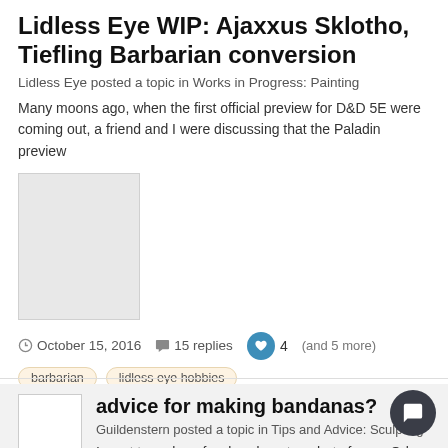Lidless Eye WIP: Ajaxxus Sklotho, Tiefling Barbarian conversion
Lidless Eye posted a topic in Works in Progress: Painting
Many moons ago, when the first official preview for D&D 5E were coming out, a friend and I were discussing that the Paladin preview
[Figure (photo): Gray placeholder image for a miniature WIP photo]
October 15, 2016   15 replies   4   (and 5 more)
barbarian
lidless eye hobbies
[Figure (photo): Small white square avatar placeholder for user Guildenstern]
advice for making bandanas?
Guildenstern posted a topic in Tips and Advice: Sculpting
I want to make a few bandana type hats for my Orks, as my theme